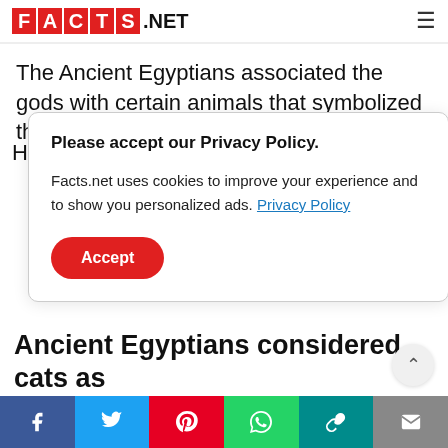FACTS.NET
The Ancient Egyptians associated the gods with certain animals that symbolized the gods' aspects
Please accept our Privacy Policy.

Facts.net uses cookies to improve your experience and to show you personalized ads. Privacy Policy

Accept
Ancient Egyptians considered cats as
Facebook Twitter Pinterest WhatsApp Link Email